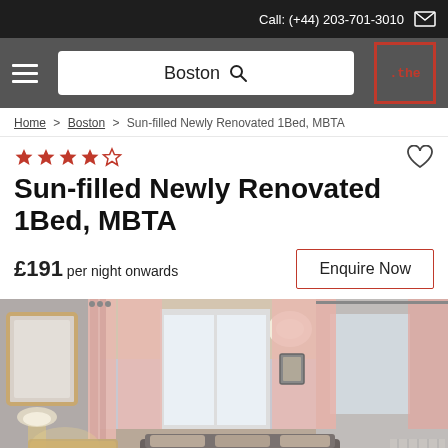Call: (+44) 203-701-3010
[Figure (screenshot): Navigation bar with hamburger menu, Boston search box, and .the logo]
Home > Boston > Sun-filled Newly Renovated 1Bed, MBTA
4 out of 5 stars rating
Sun-filled Newly Renovated 1Bed, MBTA
£191 per night onwards
Enquire Now
[Figure (photo): Interior photo of a sun-filled bedroom/living room with pink curtains, light grey walls, a mirror, and warm lighting]